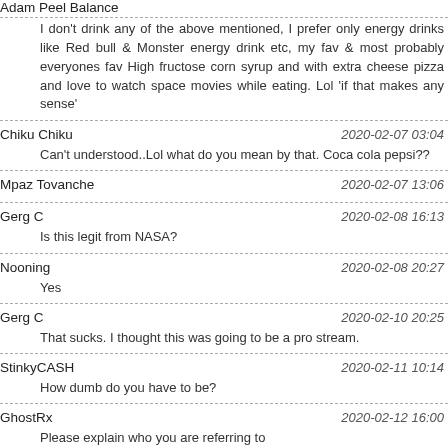Adam Peel Balance
I don't drink any of the above mentioned, I prefer only energy drinks like Red bull & Monster energy drink etc, my fav & most probably everyones fav High fructose corn syrup and with extra cheese pizza and love to watch space movies while eating. Lol 'if that makes any sense'
Chiku Chiku  2020-02-07 03:04
Can't understood..Lol what do you mean by that. Coca cola pepsi??
Mpaz Tovanche  2020-02-07 13:06
Gerg C  2020-02-08 16:13
Is this legit from NASA?
Nooning  2020-02-08 20:27
Yes
Gerg C  2020-02-10 20:25
That sucks. I thought this was going to be a pro stream.
StinkyCASH  2020-02-11 10:14
How dumb do you have to be?
GhostRx  2020-02-12 16:00
Please explain who you are referring to